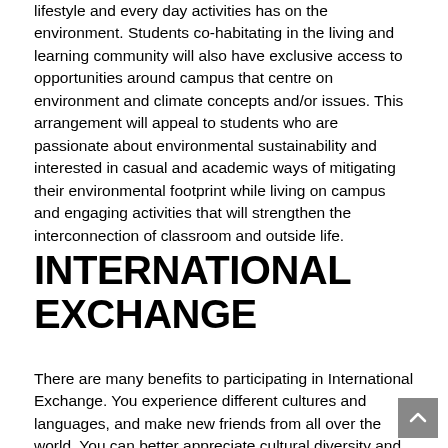lifestyle and every day activities has on the environment. Students co-habitating in the living and learning community will also have exclusive access to opportunities around campus that centre on environment and climate concepts and/or issues. This arrangement will appeal to students who are passionate about environmental sustainability and interested in casual and academic ways of mitigating their environmental footprint while living on campus and engaging activities that will strengthen the interconnection of classroom and outside life.
INTERNATIONAL EXCHANGE
There are many benefits to participating in International Exchange. You experience different cultures and languages, and make new friends from all over the world. You can better appreciate cultural diversity and international exchange